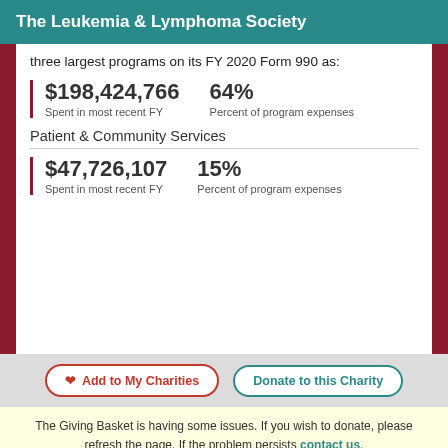The Leukemia & Lymphoma Society
three largest programs on its FY 2020 Form 990 as:
$198,424,766
Spent in most recent FY
64%
Percent of program expenses
Patient & Community Services
$47,726,107
Spent in most recent FY
15%
Percent of program expenses
Add to My Charities
Donate to this Charity
The Giving Basket is having some issues. If you wish to donate, please refresh the page. If the problem persists contact us.
Cart ID: Not Assigned